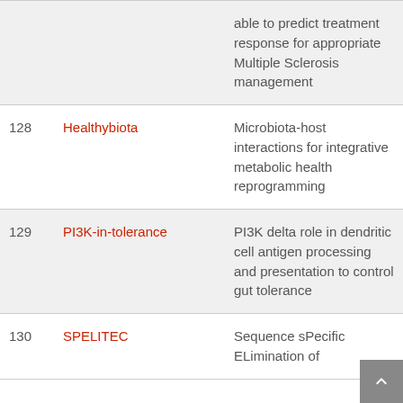| # | Name | Description |
| --- | --- | --- |
|  |  | able to predict treatment response for appropriate Multiple Sclerosis management |
| 128 | Healthybiota | Microbiota-host interactions for integrative metabolic health reprogramming |
| 129 | PI3K-in-tolerance | PI3K delta role in dendritic cell antigen processing and presentation to control gut tolerance |
| 130 | SPELITEC | Sequence sPecific ELimination of… |